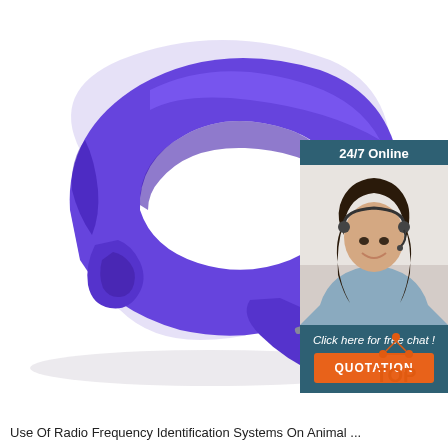[Figure (photo): Purple silicone RFID wristband/bracelet with buckle holes, photographed on white background]
[Figure (infographic): 24/7 Online chat widget with female customer service agent wearing headset, 'Click here for free chat!' text, and orange QUOTATION button]
[Figure (logo): TOP logo with orange triangle/arrow dots above the word TOP in orange]
Use Of Radio Frequency Identification Systems On Animal ...